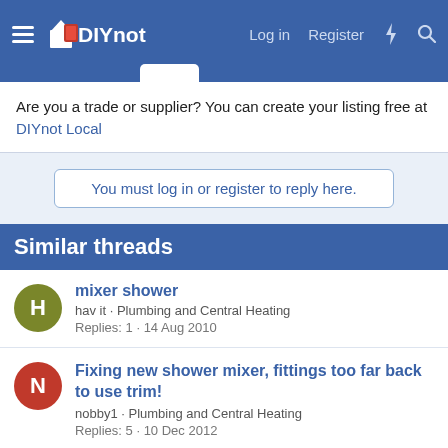DIYnot - Log in | Register
Are you a trade or supplier? You can create your listing free at DIYnot Local
You must log in or register to reply here.
Similar threads
mixer shower · hav it · Plumbing and Central Heating · Replies: 1 · 14 Aug 2010
Fixing new shower mixer, fittings too far back to use trim! · nobby1 · Plumbing and Central Heating · Replies: 5 · 10 Dec 2012